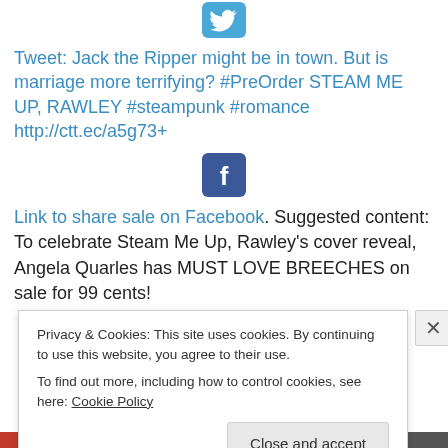[Figure (logo): Twitter bird icon, blue rounded square]
Tweet: Jack the Ripper might be in town. But is marriage more terrifying? #PreOrder STEAM ME UP, RAWLEY #steampunk #romance http://ctt.ec/a5g73+
[Figure (logo): Facebook 'f' icon, blue rounded square]
Link to share sale on Facebook. Suggested content: To celebrate Steam Me Up, Rawley's cover reveal, Angela Quarles has MUST LOVE BREECHES on sale for 99 cents!
Privacy & Cookies: This site uses cookies. By continuing to use this website, you agree to their use.
To find out more, including how to control cookies, see here: Cookie Policy
Close and accept